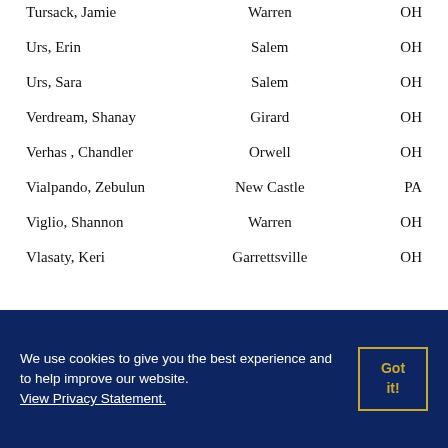| Name | City | State |
| --- | --- | --- |
| Tursack, Jamie | Warren | OH |
| Urs, Erin | Salem | OH |
| Urs, Sara | Salem | OH |
| Verdream, Shanay | Girard | OH |
| Verhas , Chandler | Orwell | OH |
| Vialpando, Zebulun | New Castle | PA |
| Viglio, Shannon | Warren | OH |
| Vlasaty, Keri | Garrettsville | OH |
We use cookies to give you the best experience and to help improve our website. View Privacy Statement.